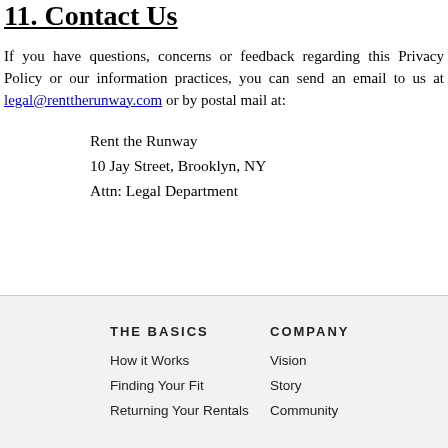11. Contact Us
If you have questions, concerns or feedback regarding this Privacy Policy or our information practices, you can send an email to us at legal@renttherunway.com or by postal mail at:
Rent the Runway
10 Jay Street, Brooklyn, NY
Attn: Legal Department
THE BASICS
How it Works
Finding Your Fit

COMPANY
Vision
Story
Community
THE BASICS
How it Works
Finding Your Fit
COMPANY
Vision
Story